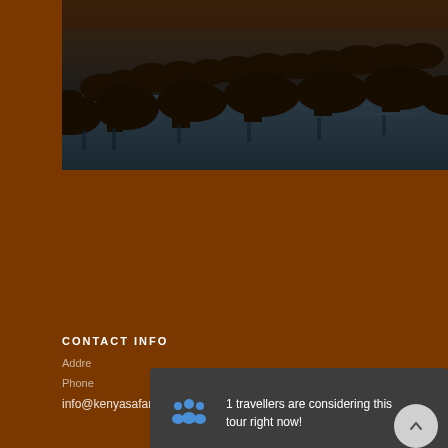[Figure (photo): Herd of buffalo or wildebeest drinking at a waterhole or river, silhouetted in low light. Safari wildlife photo.]
CONTACT INFO
Addre…
Phone…
info@kenyasafariadventures.co.ke
1 travellers are considering this tour right now!